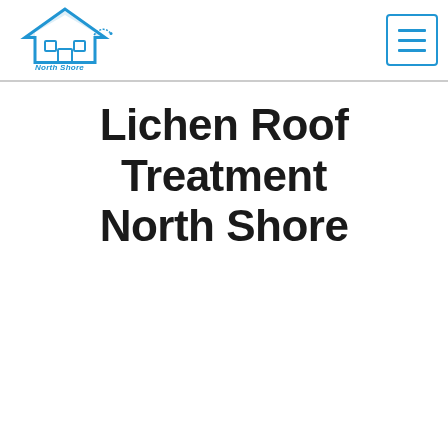North Shore House Wash logo and navigation menu
Lichen Roof Treatment North Shore